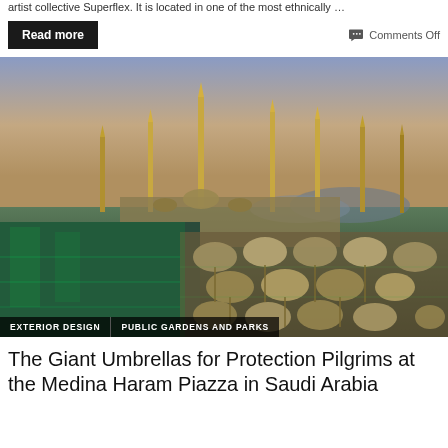artist collective Superflex. It is located in one of the most ethnically …
Read more
Comments Off
[Figure (photo): Aerial twilight view of the Medina Haram Mosque complex in Saudi Arabia, showing multiple golden minarets and large umbrella canopies in the courtyard, with tags 'EXTERIOR DESIGN' and 'PUBLIC GARDENS AND PARKS']
The Giant Umbrellas for Protection Pilgrims at the Medina Haram Piazza in Saudi Arabia